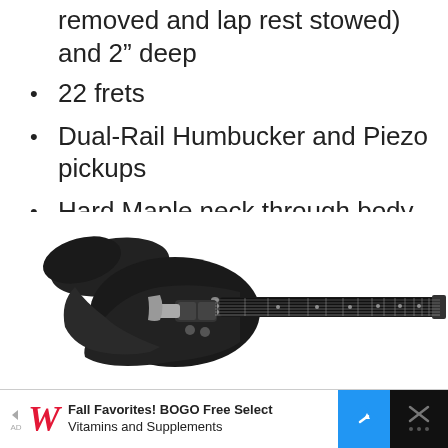removed and lap rest stowed) and 2" deep
22 frets
Dual-Rail Humbucker and Piezo pickups
Hard Maple neck through body
[Figure (photo): Black electric travel guitar with humbucker pickup and extended fretboard neck, shown in profile on white background]
Fall Favorites! BOGO Free Select Vitamins and Supplements